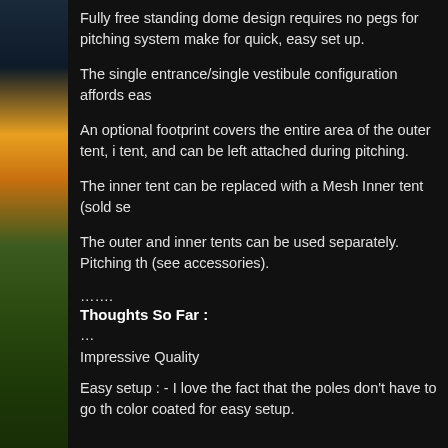[Figure (photo): Outdoor landscape photo showing sky at sunset/dusk with green field, positioned as left sidebar]
Fully free standing dome design requires no pegs for pitching system make for quick, easy set up.
The single entrance/single vestibule configuration affords eas
An optional footprint covers the entire area of the outer tent, i tent, and can be left attached during pitching.
The inner tent can be replaced with a Mesh Inner tent (sold se
The outer and inner tents can be used separately. Pitching th (see accessories).
…….
Thoughts So Far :
…
Impressive Quality
Easy setup : - I love the fact that the poles don't have to go th color coated for easy setup.